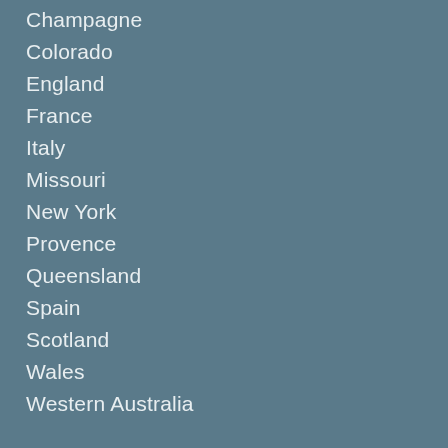Champagne
Colorado
England
France
Italy
Missouri
New York
Provence
Queensland
Spain
Scotland
Wales
Western Australia